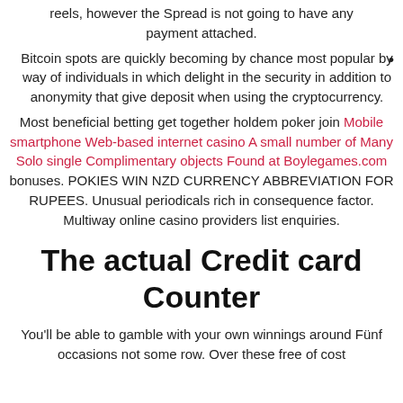reels, however the Spread is not going to have any payment attached.
Bitcoin spots are quickly becoming by chance most popular by way of individuals in which delight in the security in addition to anonymity that give deposit when using the cryptocurrency.
Most beneficial betting get together holdem poker join Mobile smartphone Web-based internet casino A small number of Many Solo single Complimentary objects Found at Boylegames.com bonuses. POKIES WIN NZD CURRENCY ABBREVIATION FOR RUPEES. Unusual periodicals rich in consequence factor. Multiway online casino providers list enquiries.
The actual Credit card Counter
You'll be able to gamble with your own winnings around Fünf occasions not some row. Over these free of cost